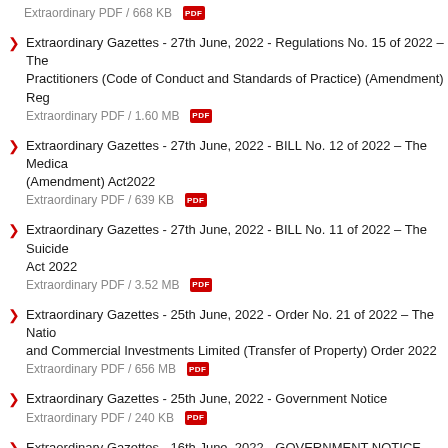Extraordinary PDF / 668 KB
Extraordinary Gazettes - 27th June, 2022 - Regulations No. 15 of 2022 – The Practitioners (Code of Conduct and Standards of Practice) (Amendment) Reg
Extraordinary PDF / 1.60 MB
Extraordinary Gazettes - 27th June, 2022 - BILL No. 12 of 2022 – The Medica (Amendment) Act2022
Extraordinary PDF / 639 KB
Extraordinary Gazettes - 27th June, 2022 - BILL No. 11 of 2022 – The Suicide Act 2022
Extraordinary PDF / 3.52 MB
Extraordinary Gazettes - 25th June, 2022 - Order No. 21 of 2022 – The Nation and Commercial Investments Limited (Transfer of Property) Order 2022
Extraordinary PDF / 656 MB
Extraordinary Gazettes - 25th June, 2022 - Government Notice
Extraordinary PDF / 240 KB
Extraordinary Gazettes - 16th June, 2022 - GOVERNMENT NOTICE – Appoin Members of the Nurses and Midwives Council of Guyana
Extraordinary PDF / 449 KB
Official Gazettes - 25th June, 2022
Official PDF / 3.01 MB